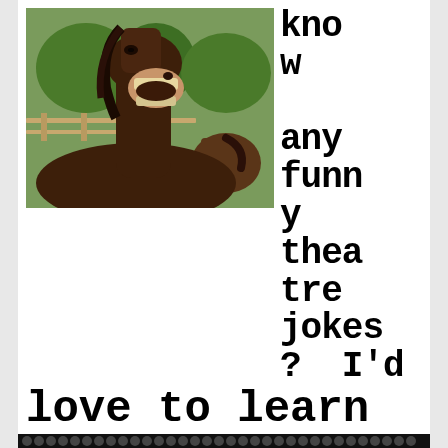[Figure (photo): A horse with mouth wide open appearing to laugh, with trees and a fence in the background, and another horse visible behind it.]
kno
w
any
funn
y
thea
tre
jokes
?  I'd
love to learn them.
I have quite a sense of humor myself.  If you'd like to see any evidence of it.  Check out this lesson:
The Brave Little Tailor